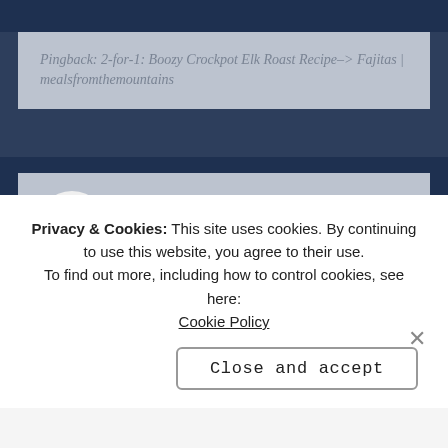Pingback: 2-for-1: Boozy Crockpot Elk Roast Recipe–> Fajitas | mealsfromthemountains
ANWAR says: APRIL 1, 2014 AT 11:40 AM
Hi, I enjoyed finding your latest entries. Loved the pictures and inspired by what you are doing. Could not find the place to sign up for receiving notices when you post. Thanks Pat
Privacy & Cookies: This site uses cookies. By continuing to use this website, you agree to their use.
To find out more, including how to control cookies, see here: Cookie Policy
Close and accept